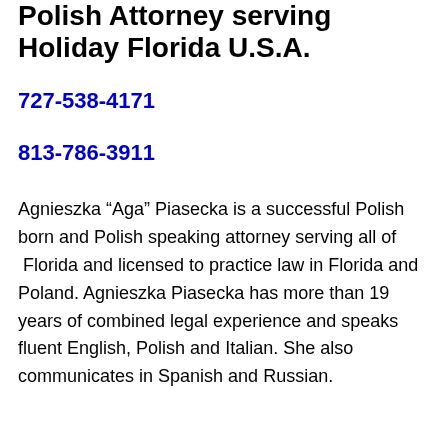Polish Attorney serving Holiday Florida U.S.A.
727-538-4171
813-786-3911
Agnieszka “Aga” Piasecka is a successful Polish born and Polish speaking attorney serving all of Florida and licensed to practice law in Florida and Poland. Agnieszka Piasecka has more than 19 years of combined legal experience and speaks fluent English, Polish and Italian. She also communicates in Spanish and Russian.